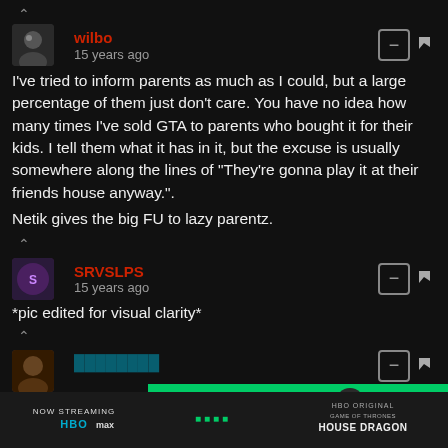^ (chevron up)
wilbo · 15 years ago
I've tried to inform parents as much as I could, but a large percentage of them just don't care. You have no idea how many times I've sold GTA to parents who bought it for their kids. I tell them what it has in it, but the excuse is usually somewhere along the lines of "They're gonna play it at their friends house anyway.".
Netik gives the big FU to lazy parentz.
^ (chevron up)
SRVSLPS · 15 years ago
*pic edited for visual clarity*
^ (chevron up)
[Figure (screenshot): Advertisement banner for House of the Dragon on HBO Max, with green top bar and close button]